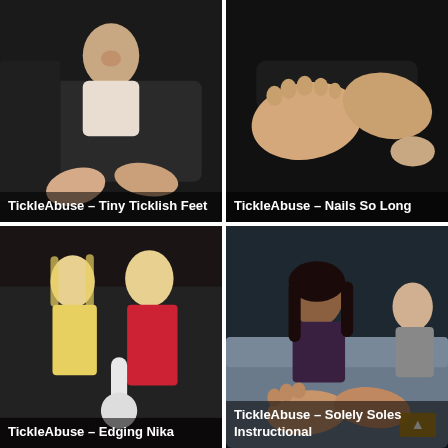[Figure (photo): Video thumbnail showing a young woman sitting in a dark room with feet restrained, smiling. Caption reads: TickleAbuse – Tiny Ticklish Feet]
[Figure (photo): Video thumbnail showing close-up of bare feet being held, dark background. Caption reads: TickleAbuse – Nails So Long]
[Figure (photo): Video thumbnail showing two blonde women, one in yellow lingerie one in red dress, with a device. Caption reads: TickleAbuse – Edging Nika]
[Figure (photo): Video thumbnail showing a dark-haired woman on a couch with bare feet extended, another person visible. Caption reads: TickleAbuse – Solely Soles Instructional]